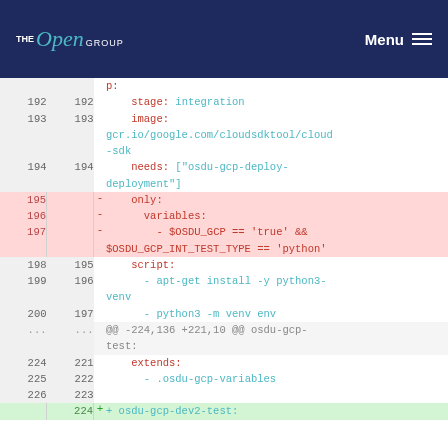THE Open GROUP — Menu
Code diff view showing lines 192-226 of a YAML CI pipeline configuration file with removed lines (195-197) highlighted in red and an added line (224) highlighted in green.